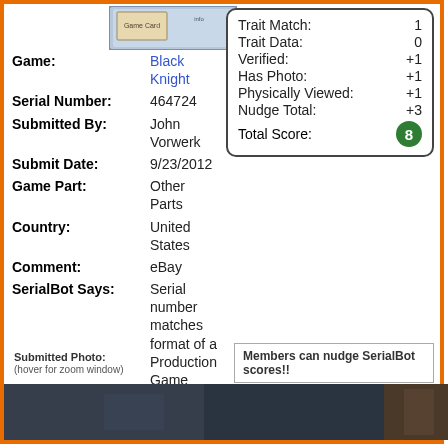[Figure (photo): Game cartridge card image at top]
| Game: | Black Knight |
| Serial Number: | 464724 |
| Submitted By: | John Vorwerk |
| Submit Date: | 9/23/2012 |
| Game Part: | Other Parts |
| Country: | United States |
| Comment: | eBay |
| SerialBot Says: | Serial number matches format of a Production Game |
| Trait Match: | 1 |
| --- | --- |
| Trait Data: | 0 |
| Verified: | +1 |
| Has Photo: | +1 |
| Physically Viewed: | +1 |
| Nudge Total: | +3 |
| Total Score: | 8 |
Submitted Photo:
(hover for zoom window)
Members can nudge SerialBot scores!!
[Figure (photo): Dark photo strip at bottom of page]